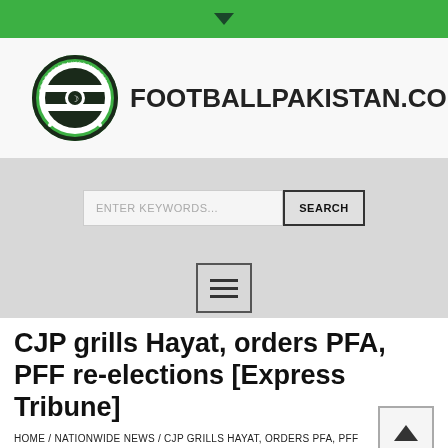▼
[Figure (logo): FootballPakistan.com logo: circular green badge with football design and text 'FOOTBALLPAKISTAN.COM 2003', next to bold text 'FOOTBALLPAKISTAN.COM']
[Figure (screenshot): Search bar with placeholder text 'ENTER KEYWORDS...' and a SEARCH button]
[Figure (other): Hamburger menu button with three horizontal lines]
CJP grills Hayat, orders PFA, PFF re-elections [Express Tribune]
HOME / NATIONWIDE NEWS / CJP GRILLS HAYAT, ORDERS PFA, PFF RE-ELECTIONS [EXPRESS TRIBUNE]